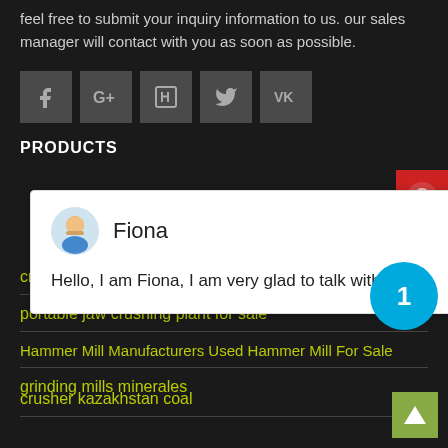feel free to submit your inquiry information to us. our sales manager will contact with you as soon as possible.
[Figure (infographic): Row of 5 social media icon buttons: Facebook, Google+, LinkedIn, Twitter, VK — dark gray square buttons]
PRODUCTS
[Figure (screenshot): Chat popup with avatar of Fiona. Header: 'Fiona'. Message: 'Hello, I am Fiona, I am very glad to talk with you!' Close button X in top right.]
crusher kazakhstan coal
portable jaw crushing plant for sale
Hammer Mill Manufacturers Used Hammer Mill For Sale
grinding mills minerales